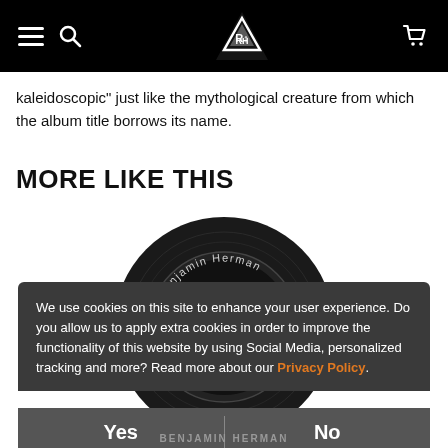Navigation bar with hamburger menu, search icon, logo, and cart icon
kaleidoscopic" just like the mythological creature from which the album title borrows its name.
MORE LIKE THIS
[Figure (illustration): A vinyl record with 'Benjamin Herman' text arched along the top of the black label]
We use cookies on this site to enhance your user experience. Do you allow us to apply extra cookies in order to improve the functionality of this website by using Social Media, personalized tracking and more? Read more about our Privacy Policy.
Yes   No
BENJAMIN HERMAN
SHERRY BRITTON/TEMPEST STORM